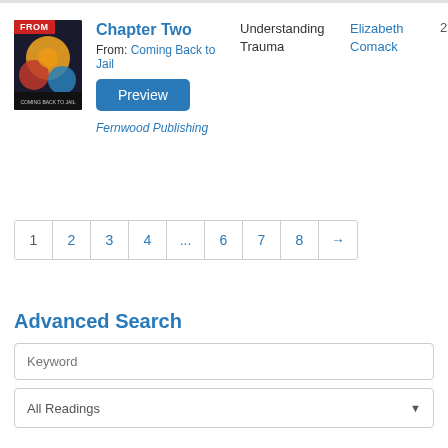[Figure (screenshot): Book cover thumbnail with red FROM badge, showing Coming Back to Jail]
Chapter Two
From: Coming Back to Jail
Preview
Fernwood Publishing
Understanding Trauma
Elizabeth Comack
23
1  2  3  4  ...  6  7  8  →
Advanced Search
Keyword
All Readings